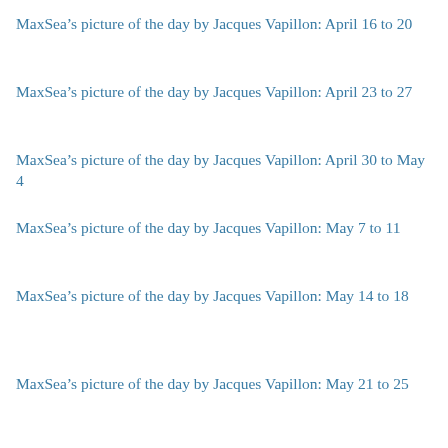MaxSea's picture of the day by Jacques Vapillon: April 16 to 20
MaxSea's picture of the day by Jacques Vapillon: April 23 to 27
MaxSea's picture of the day by Jacques Vapillon: April 30 to May 4
MaxSea's picture of the day by Jacques Vapillon: May 7 to 11
MaxSea's picture of the day by Jacques Vapillon: May 14 to 18
MaxSea's picture of the day by Jacques Vapillon: May 21 to 25